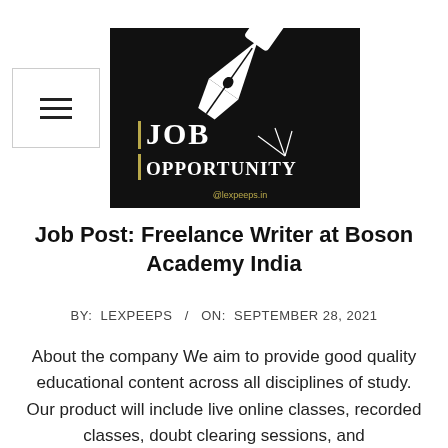[Figure (logo): Black square logo with white fountain pen nib illustration, text 'JOB OPPORTUNITY' in white serif font with gold vertical bar accents, watermark '@lexpeeps.in' in gold at bottom right]
Job Post: Freelance Writer at Boson Academy India
BY: LEXPEEPS / ON: SEPTEMBER 28, 2021
About the company We aim to provide good quality educational content across all disciplines of study. Our product will include live online classes, recorded classes, doubt clearing sessions, and